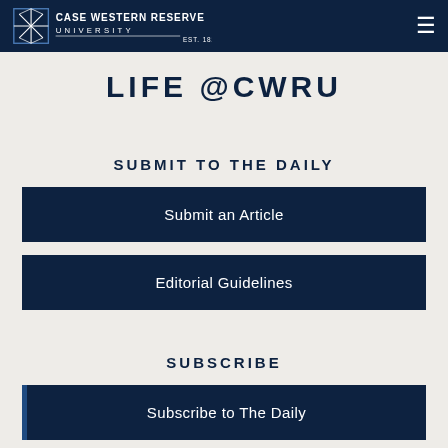Case Western Reserve University Est. 1826
LIFE @CWRU
SUBMIT TO THE DAILY
Submit an Article
Editorial Guidelines
SUBSCRIBE
Subscribe to The Daily